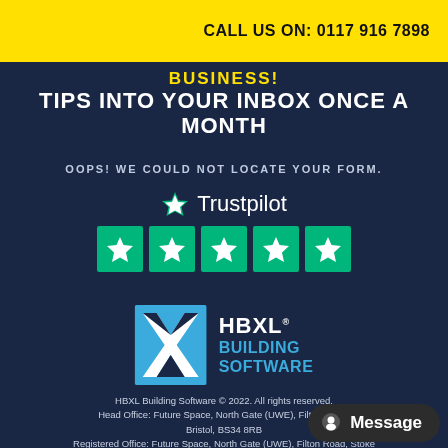CALL US ON: 0117 916 7898
BUSINESS! TIPS INTO YOUR INBOX ONCE A MONTH
OOPS! WE COULD NOT LOCATE YOUR FORM.
[Figure (logo): Trustpilot logo with star and wordmark, and five green star rating boxes below]
[Figure (logo): HBXL Building Software logo with blue X icon and text]
HBXL Building Software © 2022. All rights reserved. Head Office: Future Space, North Gate (UWE), Filton Road, Stoke Gifford, Bristol, BS34 8RB. Registered Office: Future Space, North Gate (UWE), Filton Road, Stoke Gifford, Bristol, BS34 8RB